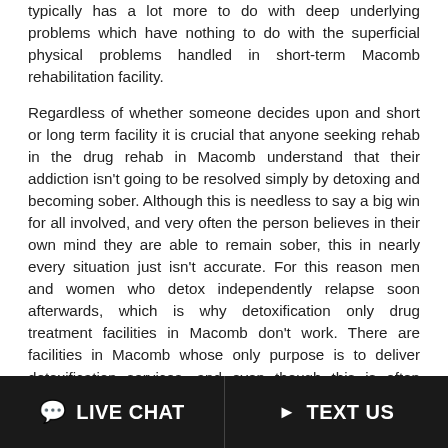typically has a lot more to do with deep underlying problems which have nothing to do with the superficial physical problems handled in short-term Macomb rehabilitation facility.
Regardless of whether someone decides upon and short or long term facility it is crucial that anyone seeking rehab in the drug rehab in Macomb understand that their addiction isn't going to be resolved simply by detoxing and becoming sober. Although this is needless to say a big win for all involved, and very often the person believes in their own mind they are able to remain sober, this in nearly every situation just isn't accurate. For this reason men and women who detox independently relapse soon afterwards, which is why detoxification only drug treatment facilities in Macomb don't work. There are facilities in Macomb whose only purpose is to deliver detoxification services, and even though this is often helpful and useful when it comes to short term advantages and goals, people that receive no further treatment services within a drug rehab in Macomb following detoxification fare equally as well as people who received no
💬 LIVE CHAT   📱 TEXT US